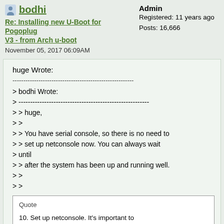bodhi
Re: Installing new U-Boot for Pogoplug V3 - from Arch u-boot
November 05, 2017 06:09AM
Admin
Registered: 11 years ago
Posts: 16,666
huge Wrote:
--------------------------------------------------------
> bodhi Wrote:
> --------------------------------------------------------
> > huge,
> >
> > You have serial console, so there is no need to
> > set up netconsole now. You can always wait
> until
> > after the system has been up and running well.
> >
> >
Quote

10. Set up netconsole. It's important to
> > set up neconsole if you don't already have
> > serial console connected. If you've flashed
> > the default environments in step 8 then
> activate
> > netconsole with the following envs: